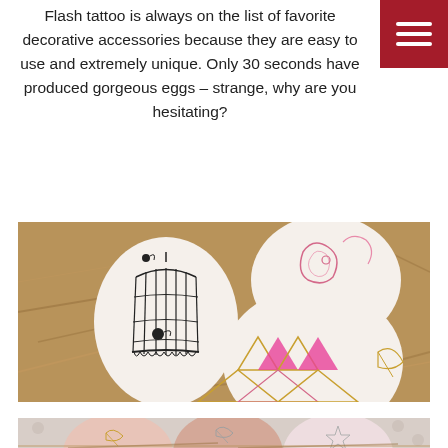Flash tattoo is always on the list of favorite decorative accessories because they are easy to use and extremely unique. Only 30 seconds have produced gorgeous eggs – strange, why are you hesitating?
[Figure (photo): Three white Easter eggs decorated with flash tattoos resting in a nest of straw. One egg has a black birdcage tattoo, one has pink paisley designs, and one has gold and pink geometric triangle patterns.]
[Figure (photo): Pink and rose gold Easter eggs in a nest with feather and star flash tattoo designs, partially visible at bottom of page.]